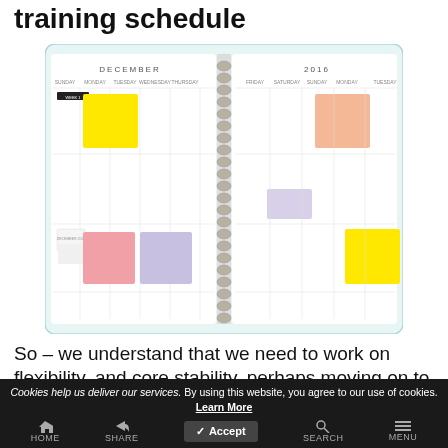training schedule
[Figure (photo): Open spiral-bound planner showing December 2016 monthly calendar spread with colorful sticky notes in yellow, pink, peach, lavender colors marking various dates.]
So – we understand that we need to work on flexibility, and core stability, perhaps moving on to strength when we know we're we'll aligned and stable enough. So how do we actually implement this…
Cookies help us deliver our services. By using this website, you agree to our use of cookies. Learn More | HOME | SHARE | Accept | SEARCH | MENU